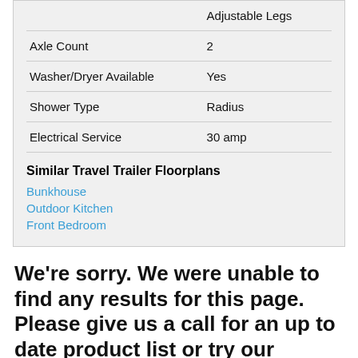|  |  |
| --- | --- |
|  | Adjustable Legs |
| Axle Count | 2 |
| Washer/Dryer Available | Yes |
| Shower Type | Radius |
| Electrical Service | 30 amp |
Similar Travel Trailer Floorplans
Bunkhouse
Outdoor Kitchen
Front Bedroom
We're sorry. We were unable to find any results for this page. Please give us a call for an up to date product list or try our Search and expand your criteria.
Quality RV – MO is not responsible for any misprints, typos